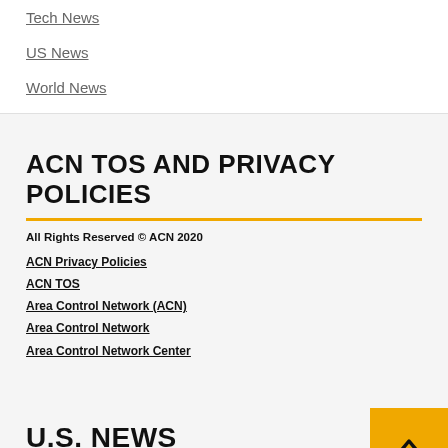Tech News
US News
World News
ACN TOS AND PRIVACY POLICIES
All Rights Reserved © ACN 2020
ACN Privacy Policies
ACN TOS
Area Control Network (ACN)
Area Control Network
Area Control Network Center
U.S. NEWS